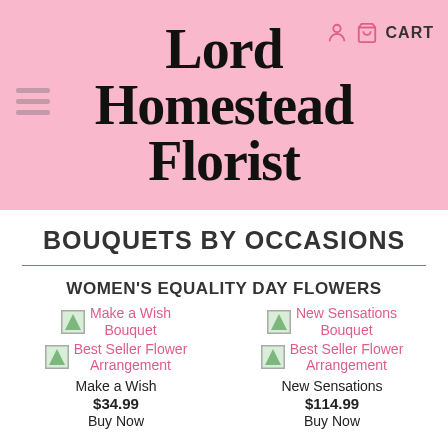Lord Homestead Florist
BOUQUETS BY OCCASIONS
WOMEN'S EQUALITY DAY FLOWERS
Make a Wish Bouquet / Best Seller Flower Arrangement / Make a Wish / $34.99 / Buy Now
New Sensations Bouquet / Best Seller Flower Arrangement / New Sensations / $114.99 / Buy Now